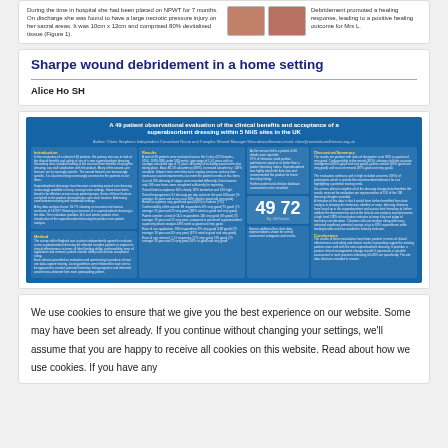[Figure (photo): Top card with medical wound images and descriptive text about a patient case with necrotic pressure injury]
Sharpe wound debridement in a home setting
Alice Ho SH
[Figure (infographic): A 49 patient observational evaluation of the clinical benefits and acceptance of a superabsorbent dressing within 5 NHS sites in the UK. Author: Claire Stephens Independent Consultant Nurse and Complex Wound Manager Woundcare4heroes email: claire@woundcare4heroes.org.uk. Multi-column poster with Introduction, Method, Results, and Discussion/Summary sections, featuring the numbers 49 and 72.]
We use cookies to ensure that we give you the best experience on our website. Some may have been set already. If you continue without changing your settings, we'll assume that you are happy to receive all cookies on this website. Read about how we use cookies. If you have any